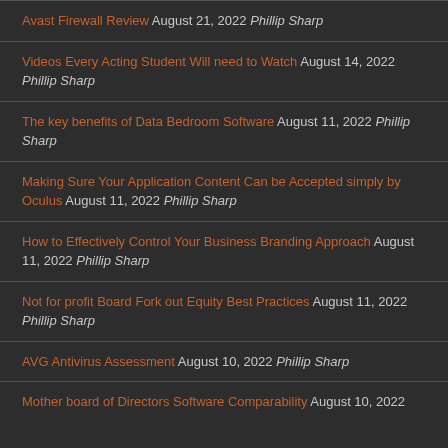Avast Firewall Review August 21, 2022 Phillip Sharp
Videos Every Acting Student Will need to Watch August 14, 2022 Phillip Sharp
The key benefits of Data Bedroom Software August 11, 2022 Phillip Sharp
Making Sure Your Application Content Can be Accepted simply by Oculus August 11, 2022 Phillip Sharp
How to Effectively Control Your Business Branding Approach August 11, 2022 Phillip Sharp
Not for profit Board Fork out Equity Best Practices August 11, 2022 Phillip Sharp
AVG Antivirus Assessment August 10, 2022 Phillip Sharp
Mother board of Directors Software Comparability August 10, 2022